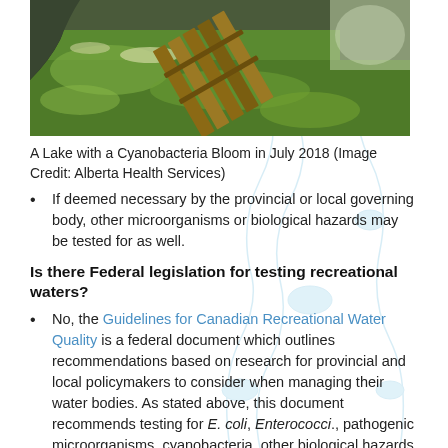[Figure (photo): Aerial or close-up photo of a lake with a cyanobacteria bloom showing green algae on the water surface and a wooden dock/boardwalk, taken in July 2018.]
A Lake with a Cyanobacteria Bloom in July 2018 (Image Credit: Alberta Health Services)
If deemed necessary by the provincial or local governing body, other microorganisms or biological hazards may be tested for as well.
Is there Federal legislation for testing recreational waters?
No, the Guidelines for Canadian Recreational Water Quality is a federal document which outlines recommendations based on research for provincial and local policymakers to consider when managing their water bodies. As stated above, this document recommends testing for E. coli, Enterococci., pathogenic microorganisms, cyanobacteria, other biological hazards, pH, temperature, and chemical hazards. The provinces set their water quality testing parameters based on